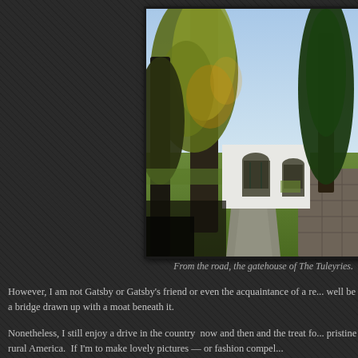[Figure (photo): A driveway lined with tall trees leads to a white gatehouse with arched openings, surrounded by autumnal foliage and a stone wall to the right. Photo of The Tuleyries gatehouse from the road.]
From the road, the gatehouse of The Tuleyries.
However, I am not Gatsby or Gatsby's friend or even the acquaintance of a re... well be a bridge drawn up with a moat beneath it.
Nonetheless, I still enjoy a drive in the country  now and then and the treat fo... pristine rural America.  If I'm to make lovely pictures — or fashion compel...